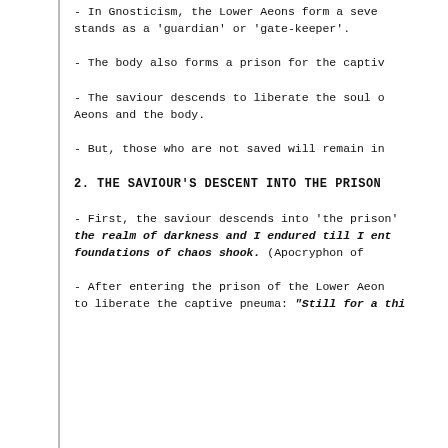- In Gnosticism, the Lower Aeons form a sever stands as a 'guardian' or 'gate-keeper'.
- The body also forms a prison for the captive
- The saviour descends to liberate the soul o Aeons and the body.
- But, those who are not saved will remain in
2. THE SAVIOUR'S DESCENT INTO THE PRISON
- First, the saviour descends into 'the prison' the realm of darkness and I endured till I ent foundations of chaos shook." (Apocryphon of
- After entering the prison of the Lower Aeon to liberate the captive pneuma: "Still for a thi